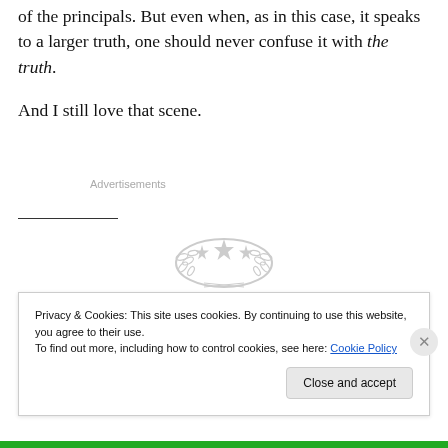of the principals. But even when, as in this case, it speaks to a larger truth, one should never confuse it with the truth.

And I still love that scene.
Advertisements
[Figure (logo): Three stars with laurel wreath emblem in light gray]
Privacy & Cookies: This site uses cookies. By continuing to use this website, you agree to their use.
To find out more, including how to control cookies, see here: Cookie Policy